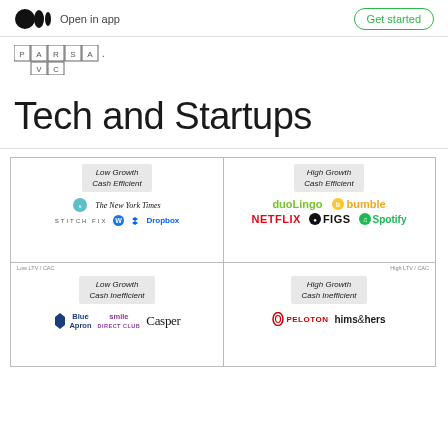Open in app | Get started
[Figure (logo): Parsa VC logo — pixelated letter blocks spelling PARSA VC]
Tech and Startups
[Figure (other): 2x2 quadrant diagram with axes LTV/CAC (low to high). Top-left: Low Growth Cash Efficient (Stitch Fix, NYT, Dropbox). Top-right: High Growth Cash Efficient (Duolingo, Bumble, Netflix, FIGS, Spotify). Bottom-left: Low Growth Cash Inefficient (Blue Apron, Smile Direct Club, Casper). Bottom-right: High Growth Cash Inefficient (Peloton, hims & hers).]